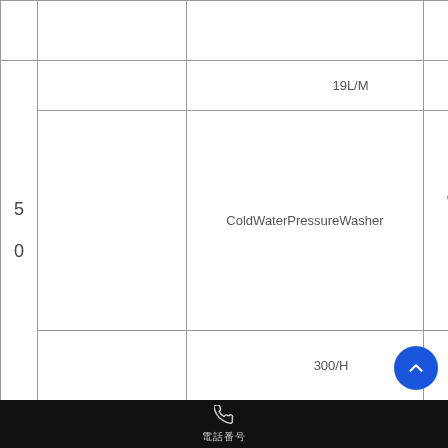|  |  | y |  |
|  |  | 〇〇〇〇〇〇〇19L/M | 仕様 |
| 50 |  | ColdWaterPressureWasher | Per day |
|  |  | 〇〇〇〇300/H | 仕様 |
|  |  |  | p |
電話番号